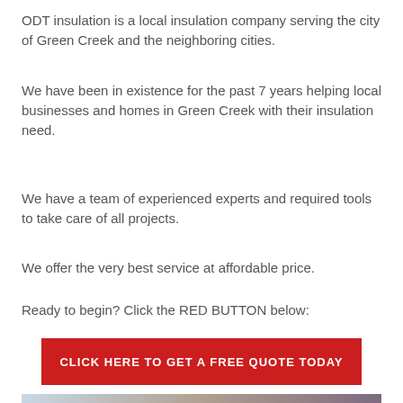ODT insulation is a local insulation company serving the city of Green Creek and the neighboring cities.
We have been in existence for the past 7 years helping local businesses and homes in Green Creek with their insulation need.
We have a team of experienced experts and required tools to take care of all projects.
We offer the very best service at affordable price.
Ready to begin? Click the RED BUTTON below:
[Figure (other): Red call-to-action button with white text: CLICK HERE TO GET A FREE QUOTE TODAY]
[Figure (photo): Partial image of insulation materials at the bottom of the page]